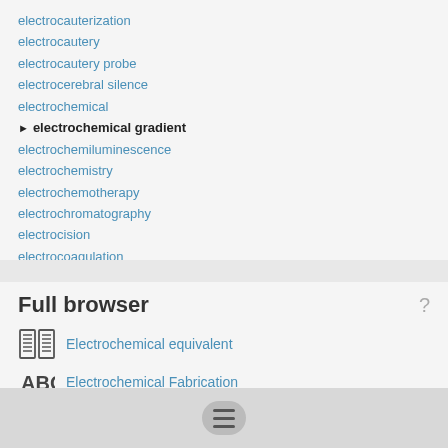electrocauterization
electrocautery
electrocautery probe
electrocerebral silence
electrochemical
electrochemical gradient (current)
electrochemiluminescence
electrochemistry
electrochemotherapy
electrochromatography
electrocision
electrocoagulation
Full browser
Electrochemical equivalent
Electrochemical Fabrication
Electrochemical Generator